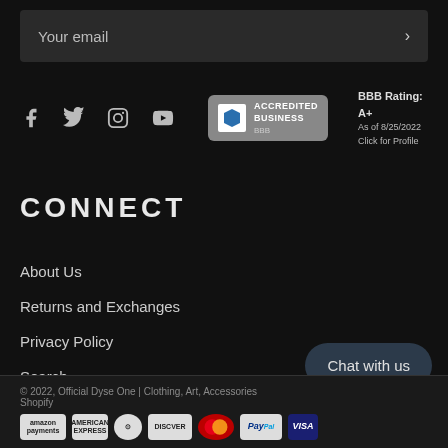Your email
[Figure (logo): BBB Accredited Business badge with rating A+ as of 8/25/2022, Click for Profile. Social media icons: Facebook, Twitter, Instagram, YouTube.]
CONNECT
About Us
Returns and Exchanges
Privacy Policy
Search
© 2022, Official Dyse One | Clothing, Art, Accessories — Shopify
Chat with us